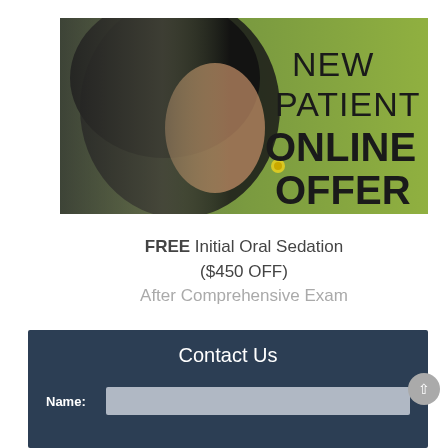[Figure (photo): Promotional banner showing a smiling young woman in profile with dark hair against a green background, with text overlay reading 'NEW PATIENT ONLINE OFFER']
FREE Initial Oral Sedation ($450 OFF) After Comprehensive Exam
Contact Us
Name: